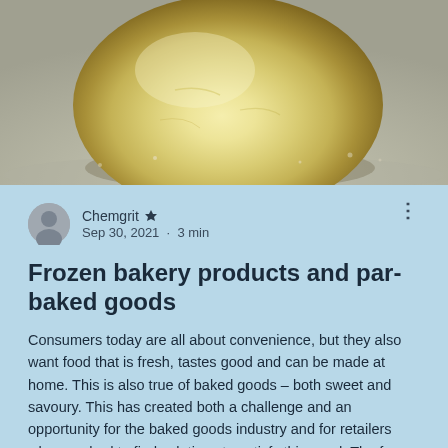[Figure (photo): Close-up photograph of a round ball of pale yellow bread dough resting on a floured surface]
Chemgrit 👑
Sep 30, 2021 · 3 min
Frozen bakery products and par-baked goods
Consumers today are all about convenience, but they also want food that is fresh, tastes good and can be made at home. This is also true of baked goods – both sweet and savoury. This has created both a challenge and an opportunity for the baked goods industry and for retailers who now had to find solutions to satisfy this need. The frozen bakery and par-baked sector has seen significant growth